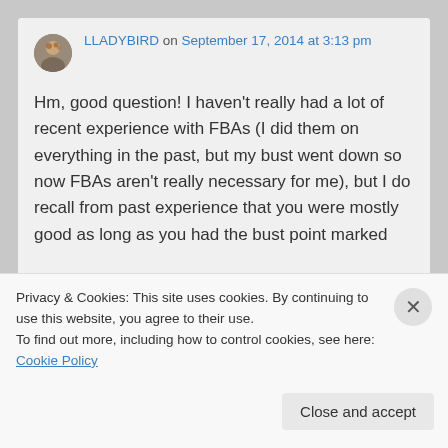LLADYBIRD on September 17, 2014 at 3:13 pm
Hm, good question! I haven't really had a lot of recent experience with FBAs (I did them on everything in the past, but my bust went down so now FBAs aren't really necessary for me), but I do recall from past experience that you were mostly good as long as you had the bust point marked...
Privacy & Cookies: This site uses cookies. By continuing to use this website, you agree to their use. To find out more, including how to control cookies, see here: Cookie Policy
Close and accept